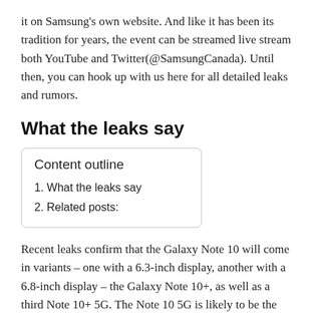it on Samsung's own website. And like it has been its tradition for years, the event can be streamed live stream both YouTube and Twitter(@SamsungCanada). Until then, you can hook up with us here for all detailed leaks and rumors.
What the leaks say
Content outline
1. What the leaks say
2. Related posts:
Recent leaks confirm that the Galaxy Note 10 will come in variants – one with a 6.3-inch display, another with a 6.8-inch display – the Galaxy Note 10+, as well as a third Note 10+ 5G. The Note 10 5G is likely to be the same as the Note 10+, perhaps for the inclusion of a 5G modem and more battery, while the standard Galaxy Note 10 has a lot that set it apart from the other variants.